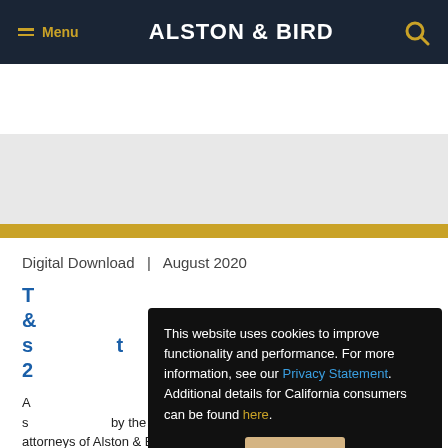Menu | ALSTON & BIRD
Digital Download  |  August 2020
T... &... s... 2...
A... s... attorneys of Alston & Bird.
This website uses cookies to improve functionality and performance. For more information, see our Privacy Statement. Additional details for California consumers can be found here.
Close